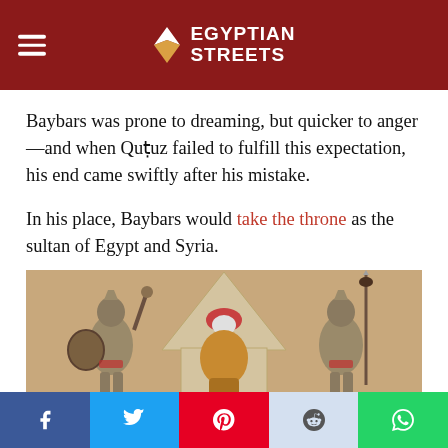Egyptian Streets
Baybars was prone to dreaming, but quicker to anger—and when Quṭuz failed to fulfill this expectation, his end came swiftly after his mistake.
In his place, Baybars would take the throne as the sultan of Egypt and Syria.
[Figure (illustration): Historical illustration of three medieval Islamic warriors/soldiers, one seated in the center wearing a turban and ornate robe, flanked by two armored standing soldiers, one holding a mace and shield, the other holding a spear with a bird on top.]
Social share bar: Facebook, Twitter, Pinterest, Reddit, WhatsApp